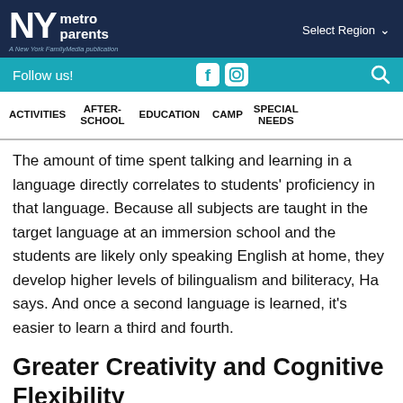NY metro parents — A New York FamilyMedia publication | Select Region
Follow us!
ACTIVITIES | AFTER-SCHOOL | EDUCATION | CAMP | SPECIAL NEEDS
The amount of time spent talking and learning in a language directly correlates to students' proficiency in that language. Because all subjects are taught in the target language at an immersion school and the students are likely only speaking English at home, they develop higher levels of bilingualism and biliteracy, Ha says. And once a second language is learned, it's easier to learn a third and fourth.
Greater Creativity and Cognitive Flexibility